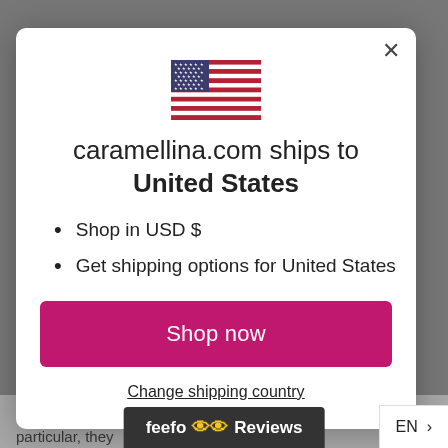[Figure (screenshot): Website modal dialog showing a US flag, shipping information for caramellina.com, bullet points about USD and shipping options, a pink 'Shop now' button, and a 'Change shipping country' link. Background shows partial website content and UI bars.]
caramellina.com ships to United States
Shop in USD $
Get shipping options for United States
Shop now
Change shipping country
execution of a ... lbject. particular, they ... to allc
feefo Reviews
EN >